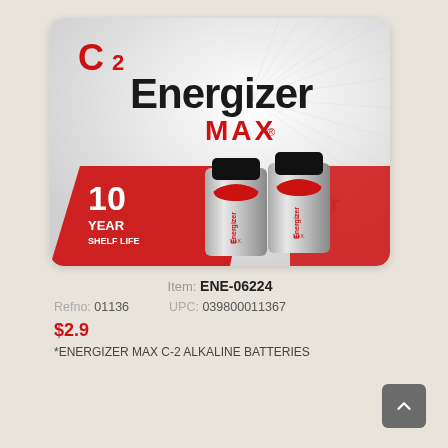[Figure (photo): Energizer MAX C2 alkaline batteries product package showing two C-size batteries with '10 Year Shelf Life' label on a silver and red background]
Item: ENE-06224
Refno: 01136   UPC: 039800011367
$2.9
*ENERGIZER MAX C-2 ALKALINE BATTERIES